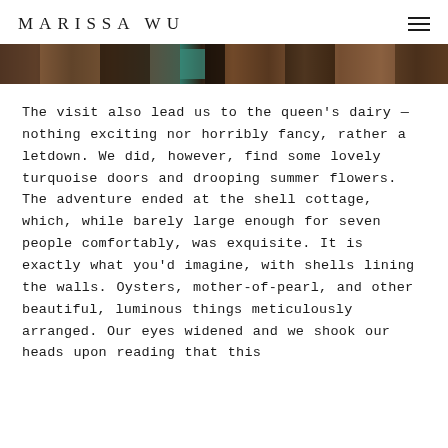MARISSA WU
[Figure (photo): A horizontal photo strip showing dark interior or exterior scene with brown, dark wood tones and a teal/turquoise door element visible in the center.]
The visit also lead us to the queen's dairy — nothing exciting nor horribly fancy, rather a letdown. We did, however, find some lovely turquoise doors and drooping summer flowers. The adventure ended at the shell cottage, which, while barely large enough for seven people comfortably, was exquisite. It is exactly what you'd imagine, with shells lining the walls. Oysters, mother-of-pearl, and other beautiful, luminous things meticulously arranged. Our eyes widened and we shook our heads upon reading that this